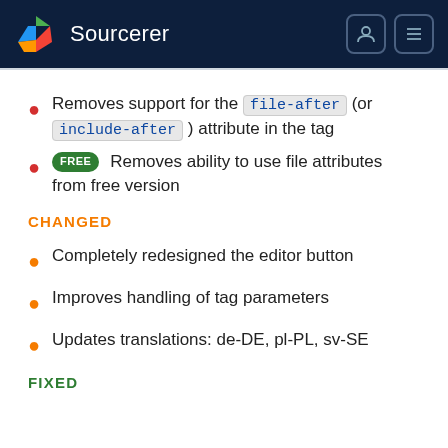Sourcerer
Removes support for the file-after (or include-after) attribute in the tag
FREE Removes ability to use file attributes from free version
CHANGED
Completely redesigned the editor button
Improves handling of tag parameters
Updates translations: de-DE, pl-PL, sv-SE
FIXED